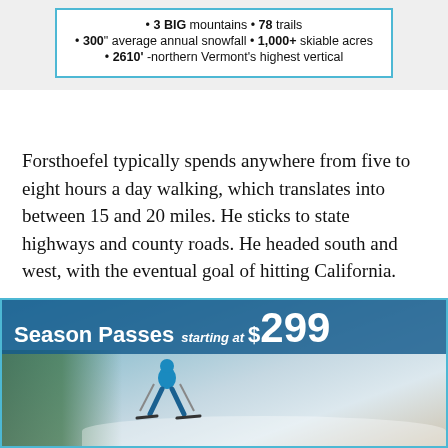[Figure (infographic): Advertisement box with cyan border showing ski resort stats: 3 BIG mountains, 78 trails, 300 inch average annual snowfall, 1,000+ skiable acres, 2610 feet northern Vermont's highest vertical]
Forsthoefel typically spends anywhere from five to eight hours a day walking, which translates into between 15 and 20 miles. He sticks to state highways and county roads. He headed south and west, with the eventual goal of hitting California.
He writes on his blog: “Every one of us has an extraordinary story worth hearing, and I’m walking the country to listen. There’s no such thing as the Average
[Figure (photo): Advertisement for Season Passes starting at $299, showing a skier on snow with blue jacket, with cyan border]